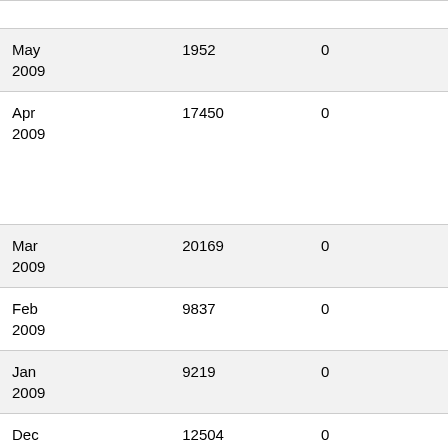| Date | Value1 | Value2 |
| --- | --- | --- |
| May 2009 | 1952 | 0 |
| Apr 2009 | 17450 | 0 |
| Mar 2009 | 20169 | 0 |
| Feb 2009 | 9837 | 0 |
| Jan 2009 | 9219 | 0 |
| Dec | 12504 | 0 |